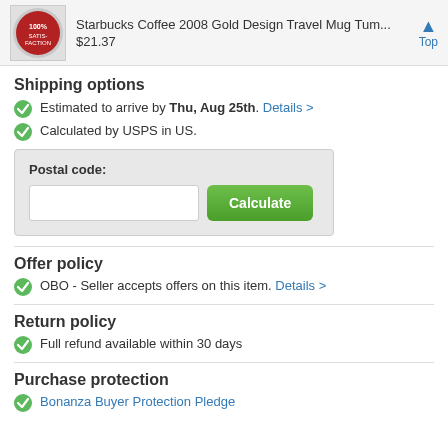Starbucks Coffee 2008 Gold Design Travel Mug Tum... $21.37 Top
Shipping options
Estimated to arrive by Thu, Aug 25th. Details >
Calculated by USPS in US.
Postal code: [input] Calculate
Offer policy
OBO - Seller accepts offers on this item. Details >
Return policy
Full refund available within 30 days
Purchase protection
Bonanza Buyer Protection Pledge